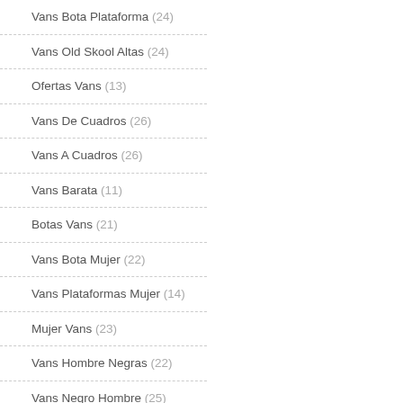Vans Bota Plataforma (24)
Vans Old Skool Altas (24)
Ofertas Vans (13)
Vans De Cuadros (26)
Vans A Cuadros (26)
Vans Barata (11)
Botas Vans (21)
Vans Bota Mujer (22)
Vans Plataformas Mujer (14)
Mujer Vans (23)
Vans Hombre Negras (22)
Vans Negro Hombre (25)
Vans Negros Hombre (24)
Zapatillas Vans Niño (25)
Vans Niñas (28)
Vans Niños (26)